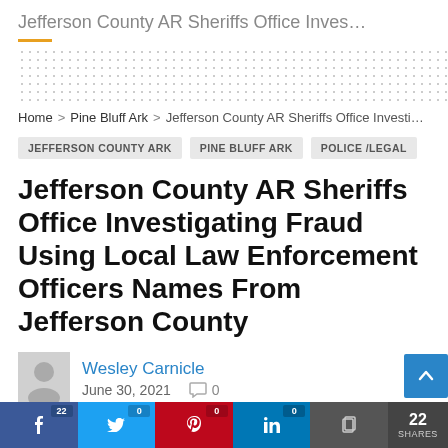Jefferson County AR Sheriffs Office Inves…
Home > Pine Bluff Ark > Jefferson County AR Sheriffs Office Investigatin
JEFFERSON COUNTY ARK   PINE BLUFF ARK   POLICE /LEGAL
Jefferson County AR Sheriffs Office Investigating Fraud Using Local Law Enforcement Officers Names From Jefferson County
Wesley Carnicle
June 30, 2021   0